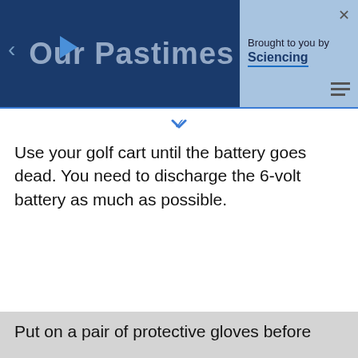[Figure (screenshot): Website header bar for 'Our Pastimes' with a dark navy background, showing a left arrow, the site logo text, a play button icon, and a right panel with 'Brought to you by Sciencing' text with close and menu buttons]
[Figure (screenshot): White bar with a blue chevron/down arrow indicating expandable content]
Use your golf cart until the battery goes dead. You need to discharge the 6-volt battery as much as possible.
Put on a pair of protective gloves before